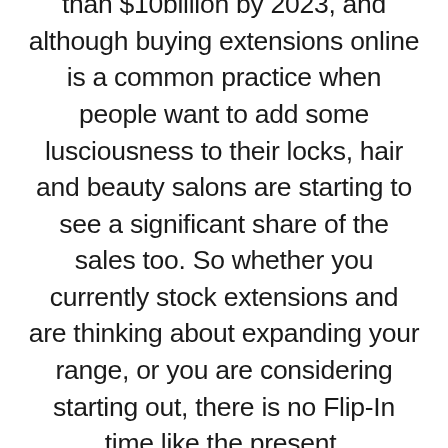than $10billion by 2023, and although buying extensions online is a common practice when people want to add some lusciousness to their locks, hair and beauty salons are starting to see a significant share of the sales too. So whether you currently stock extensions and are thinking about expanding your range, or you are considering starting out, there is no Flip-In time like the present.